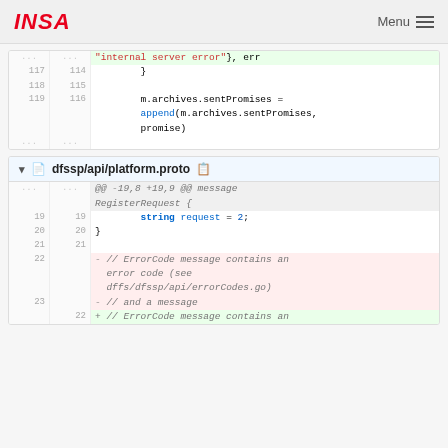INSA  Menu
[Figure (screenshot): Code diff block showing lines 117-119 (old) / 114-116 (new) with Go code including 'internal server error', closing brace, and m.archives.sentPromises = append(m.archives.sentPromises, promise)]
dfssp/api/platform.proto
[Figure (screenshot): Code diff block for dfssp/api/platform.proto showing lines 19-23 (old) and 19-22 (new) with proto definition changes including string request = 2; and ErrorCode message comments]